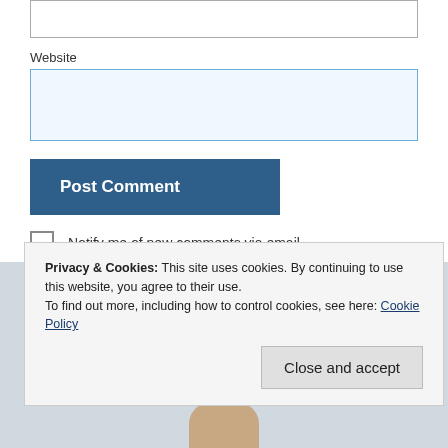[text input box top]
Website
[website input box]
Post Comment
Notify me of new comments via email.
Notify me of new posts via email.
Privacy & Cookies: This site uses cookies. By continuing to use this website, you agree to their use. To find out more, including how to control cookies, see here: Cookie Policy
Close and accept